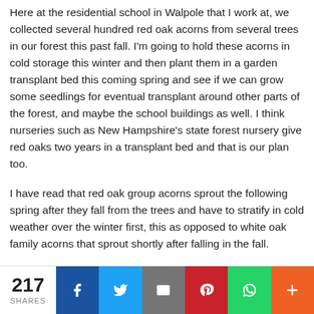Here at the residential school in Walpole that I work at, we collected several hundred red oak acorns from several trees in our forest this past fall. I'm going to hold these acorns in cold storage this winter and then plant them in a garden transplant bed this coming spring and see if we can grow some seedlings for eventual transplant around other parts of the forest, and maybe the school buildings as well. I think nurseries such as New Hampshire's state forest nursery give red oaks two years in a transplant bed and that is our plan too.
I have read that red oak group acorns sprout the following spring after they fall from the trees and have to stratify in cold weather over the winter first, this as opposed to white oak family acorns that sprout shortly after falling in the fall.
217 SHARES | Facebook | Twitter | Email | Pinterest | WhatsApp | More